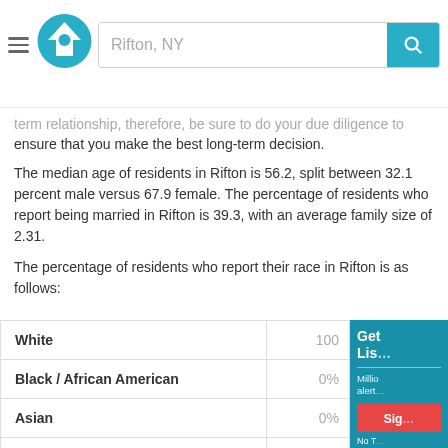Rifton, NY
term relationship, therefore, be sure to do your due diligence to ensure that you make the best long-term decision.
The median age of residents in Rifton is 56.2, split between 32.1 percent male versus 67.9 female. The percentage of residents who report being married in Rifton is 39.3, with an average family size of 2.31.
The percentage of residents who report their race in Rifton is as follows:
| Race | Percentage |
| --- | --- |
| White | 100% |
| Black / African American | 0% |
| Asian | 0% |
| American Indian / Alaskan Native | 0% |
| Native Hawaiian / Other Pacifc Islander | 0% |
| Multi-racial | 0% |